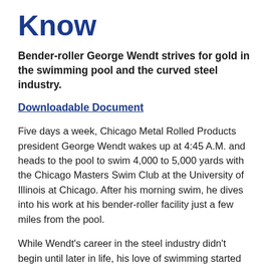Know
Bender-roller George Wendt strives for gold in the swimming pool and the curved steel industry.
Downloadable Document
Five days a week, Chicago Metal Rolled Products president George Wendt wakes up at 4:45 A.M. and heads to the pool to swim 4,000 to 5,000 yards with the Chicago Masters Swim Club at the University of Illinois at Chicago.  After his morning swim, he dives into his work at his bender-roller facility just a few miles from the pool.
While Wendt's career in the steel industry didn't begin until later in life, his love of swimming started quite early.  He swam competitively from age 5 through age 20, when he earned All American status at the University of Minnesota.  After college he